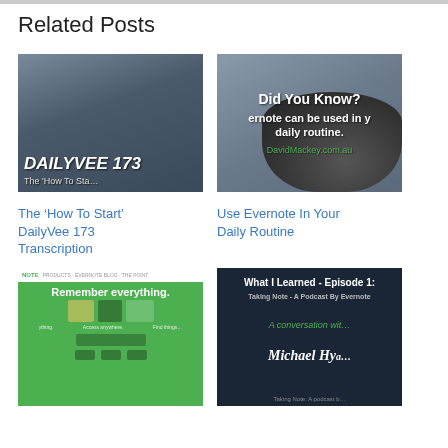Related Posts
[Figure (photo): DailyVee 173 thumbnail - man in beanie hat with text 'DAILYVEE 173' and 'The How To Sta...']
[Figure (photo): Evernote 'Did You Know?' graphic with coffee mug and text about daily routine. DavidMackey.com.au]
The ‘How To Start’ DailyVee 173 Transcription
Use Evernote In Your Daily Routine
[Figure (screenshot): Evernote website screenshot with green background, 'Remember everything' tagline and device images]
[Figure (photo): What I Learned - Episode 1: Taking Note - A Podcast By Evernote. A conversation with Michael Hya...]